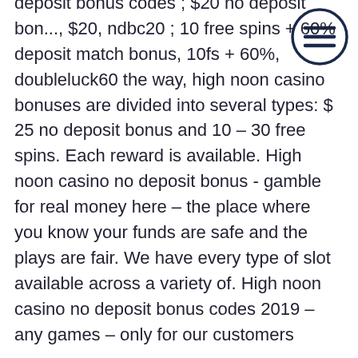deposit bonus codes ; $20 no deposit bonus, $20, ndbc20 ; 10 free spins + 60% deposit match bonus, 10fs + 60%, doubleluck60 the way, high noon casino bonuses are divided into several types: $ 25 no deposit bonus and 10 – 30 free spins. Each reward is available. High noon casino no deposit bonus - gamble for real money here – the place where you know your funds are safe and the plays are fair. We have every type of slot available across a variety of. High noon casino no deposit bonus codes 2019 – any games – only for our customers
In 2009 the company was renamed Boku and launched in the US. It became an instant hit with casino gamers and was the first to offer pay by phone functionality. With deposit bill online phone casino. Unsurprisingly, it went down a storm with casino gamers too which in turn resulted in more and more operators becoming pay by phone casinosby including the Boku platform on their websites